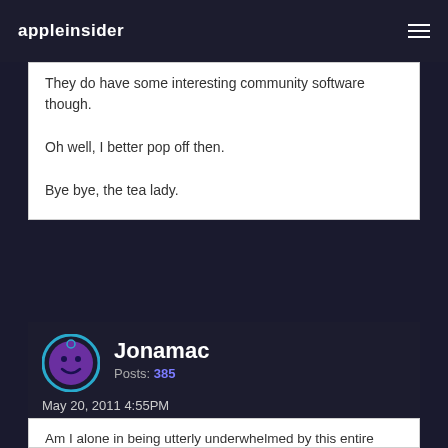appleinsider
They do have some interesting community software though.

Oh well, I better pop off then.

Bye bye, the tea lady.
Jonamac
Posts: 385
May 20, 2011 4:55PM
Am I alone in being utterly underwhelmed by this entire cloud music idea? I just do not think this is a big deal at all. This data centre must have a more grandiose purpose lined up for